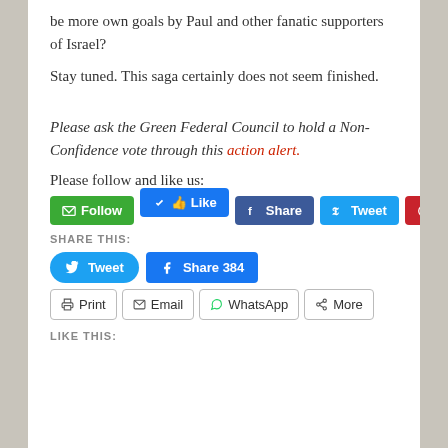be more own goals by Paul and other fanatic supporters of Israel?
Stay tuned. This saga certainly does not seem finished.
Please ask the Green Federal Council to hold a Non-Confidence vote through this action alert.
Please follow and like us:
[Figure (screenshot): Social media buttons: Follow (green), Like (blue), Share (Facebook blue), Tweet (Twitter blue), Save (Pinterest red)]
SHARE THIS:
[Figure (screenshot): Share buttons: Tweet (Twitter), Share 384 (Facebook), Print, Email, WhatsApp, More]
LIKE THIS: